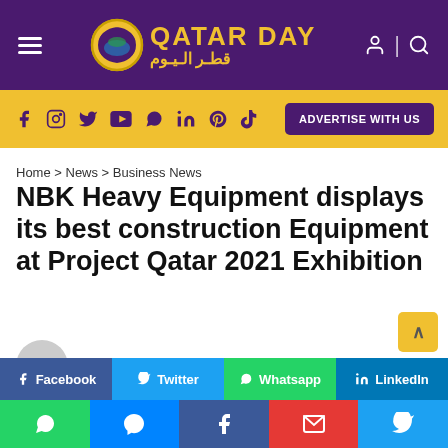Qatar Day — قطر اليوم
Social: f  Instagram  Twitter  YouTube  WhatsApp  in  Pinterest  TikTok | ADVERTISE WITH US
Home > News > Business News
NBK Heavy Equipment displays its best construction Equipment at Project Qatar 2021 Exhibition
By Nidhul - October 05, 2021
Share bar: Facebook | Twitter | Whatsapp | LinkedIn
App bar: WhatsApp | Messenger | Facebook | Email | Twitter